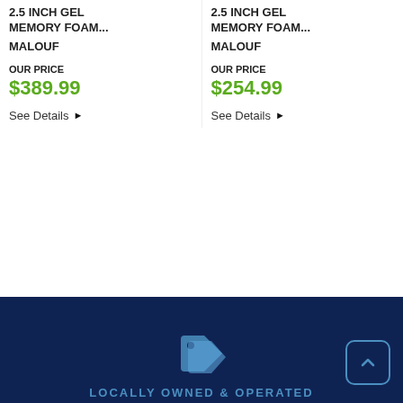2.5 INCH GEL MEMORY FOAM...
MALOUF
OUR PRICE
$389.99
See Details ▶
2.5 INCH GEL MEMORY FOAM...
MALOUF
OUR PRICE
$254.99
See Details ▶
LOCALLY OWNED & OPERATED